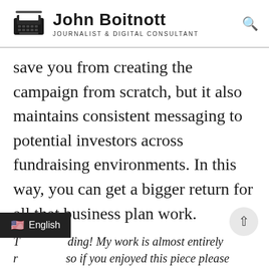John Boitnott — Journalist & Digital Consultant
save you from creating the campaign from scratch, but it also maintains consistent messaging to potential investors across fundraising environments. In this way, you can get a bigger return for all that business plan work.
T[hanks for rea]ding! My work is almost entire[ly reader-suppo]rted, so if you enjoyed this piece please